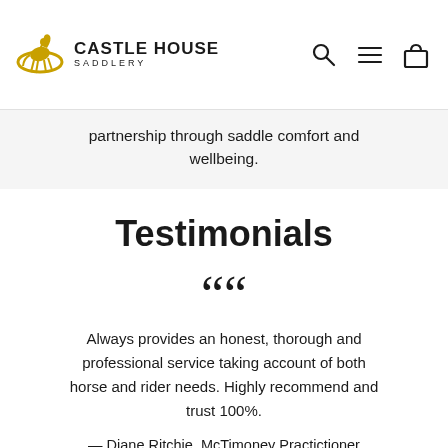Castle House Saddlery
partnership through saddle comfort and wellbeing.
Testimonials
““ Always provides an honest, thorough and professional service taking account of both horse and rider needs. Highly recommend and trust 100%. — Diane Ritchie, McTimoney Practictioner